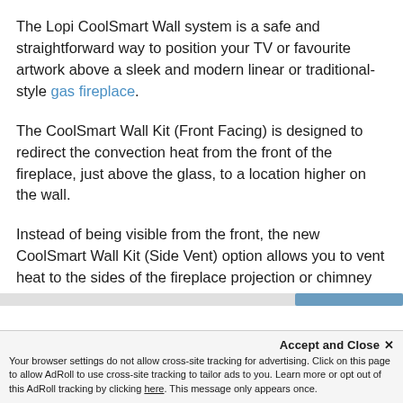The Lopi CoolSmart Wall system is a safe and straightforward way to position your TV or favourite artwork above a sleek and modern linear or traditional-style gas fireplace.
The CoolSmart Wall Kit (Front Facing) is designed to redirect the convection heat from the front of the fireplace, just above the glass, to a location higher on the wall.
Instead of being visible from the front, the new CoolSmart Wall Kit (Side Vent) option allows you to vent heat to the sides of the fireplace projection or chimney breast.
This system allows for the installation of
10amm deep) or simply face-mounted or the wall
Accept and Close ×
Your browser settings do not allow cross-site tracking for advertising. Click on this page to allow AdRoll to use cross-site tracking to tailor ads to you. Learn more or opt out of this AdRoll tracking by clicking here. This message only appears once.